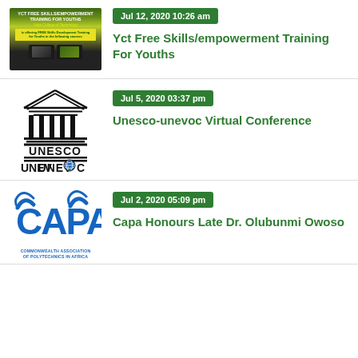[Figure (illustration): YCT Free Skills/Empowerment Training for Youths promotional banner with green/yellow background]
Jul 12, 2020 10:26 am
Yct Free Skills/empowerment Training For Youths
[Figure (logo): UNESCO-UNEVOC logo showing stylized temple/columns above 'UNESCO' text and 'UNEVOC' with colorful globe replacing the 'O']
Jul 5, 2020 03:37 pm
Unesco-unevoc Virtual Conference
[Figure (logo): CAPA (Commonwealth Association of Polytechnics in Africa) logo with blue text and stylized letters]
Jul 2, 2020 05:09 pm
Capa Honours Late Dr. Olubunmi Owoso